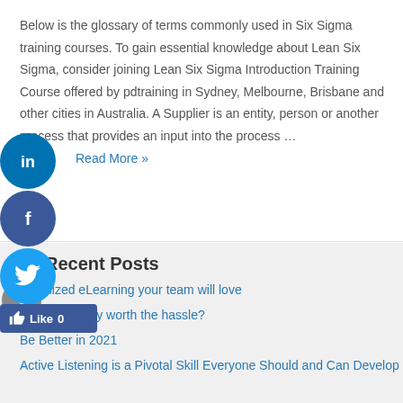Below is the glossary of terms commonly used in Six Sigma training courses. To gain essential knowledge about Lean Six Sigma, consider joining Lean Six Sigma Introduction Training Course offered by pdtraining in Sydney, Melbourne, Brisbane and other cities in Australia. A Supplier is an entity, person or another process that provides an input into the process …
Read More »
Recent Posts
Bite-sized eLearning your team will love
TNA's are they worth the hassle?
Be Better in 2021
Active Listening is a Pivotal Skill Everyone Should and Can Develop